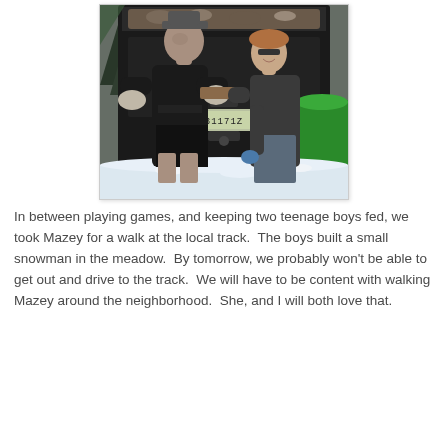[Figure (photo): Two people standing in front of a dark pickup truck bed loaded with debris/rocks. The person on the left is a teenage boy wearing a dark hoodie, shorts, and work gloves. The person on the right is a woman wearing a hoodie and jeans, smiling. A green tub is visible on the right. There is snow on the ground. License plate partially visible reading '31171Z'.]
In between playing games, and keeping two teenage boys fed, we took Mazey for a walk at the local track.  The boys built a small snowman in the meadow.  By tomorrow, we probably won't be able to get out and drive to the track.  We will have to be content with walking Mazey around the neighborhood.  She, and I will both love that.